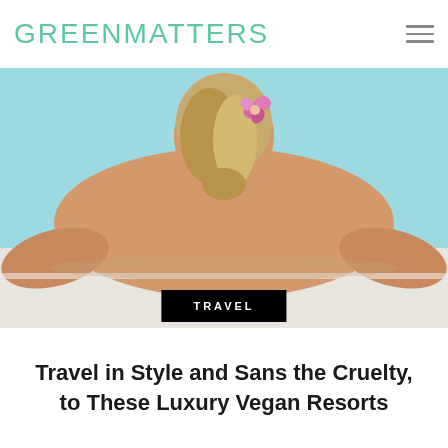GREEN MATTERS
[Figure (photo): Woman lying face-down on a massage table, viewed from behind, with a pink flower in her hair, against a light blue/teal background]
TRAVEL
Travel in Style and Sans the Cruelty, to These Luxury Vegan Resorts